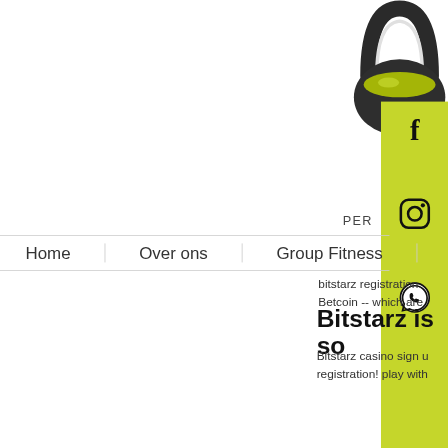[Figure (illustration): Kettlebell illustration in dark gray/black at top right of page, partially cropped]
[Figure (infographic): Green/yellow-green vertical social media sidebar with Facebook, Instagram, and WhatsApp icons]
PER
Home
Over ons
Group Fitness
bitstarz registration. Betcoin -- which are
Bitstarz is so
Bitstarz casino sign u registration! play with